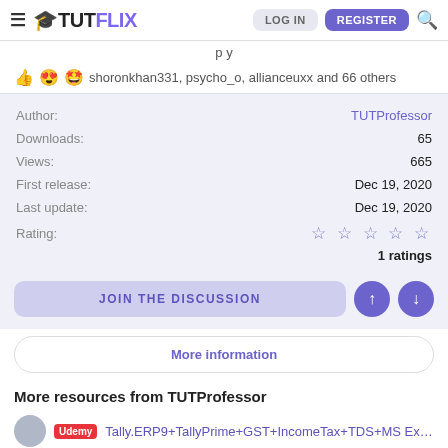TUTFLIX — LOG IN | REGISTER
shoronkhan331, psycho_o, allianceuxx and 66 others
| Field | Value |
| --- | --- |
| Author: | TUTProfessor |
| Downloads: | 65 |
| Views: | 665 |
| First release: | Dec 19, 2020 |
| Last update: | Dec 19, 2020 |
| Rating: | ☆ ☆ ☆ ☆ ☆ |
|  | 1 ratings |
JOIN THE DISCUSSION
More information
More resources from TUTProfessor
Tally.ERP9+TallyPrime+GST+IncomeTax+TDS+MS Excel